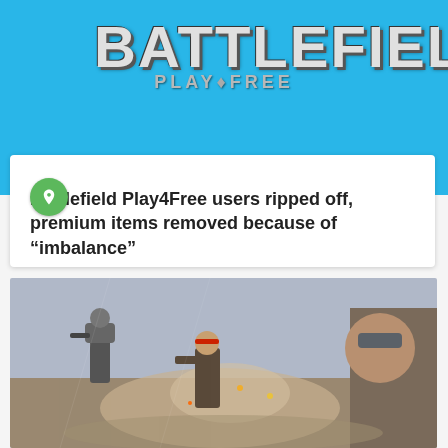[Figure (logo): Battlefield Play4Free logo on blue background banner]
Battlefield Play4Free users ripped off, premium items removed because of “imbalance”
[Figure (photo): Battlefield Play4Free game screenshot showing soldiers in combat with explosions]